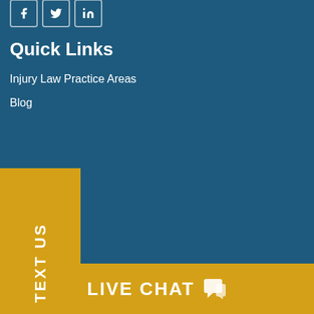[Figure (screenshot): Social media icons for Facebook, Twitter, and LinkedIn in square bordered buttons]
Quick Links
Injury Law Practice Areas
Blog
monials
ts
Contact
Privacy
Sitemap
Disclaimer
TEXT US
LIVE CHAT